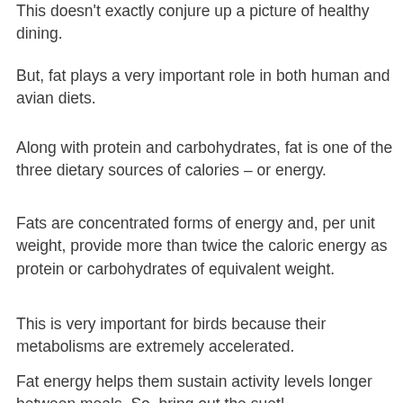This doesn't exactly conjure up a picture of healthy dining.
But, fat plays a very important role in both human and avian diets.
Along with protein and carbohydrates, fat is one of the three dietary sources of calories – or energy.
Fats are concentrated forms of energy and, per unit weight, provide more than twice the caloric energy as protein or carbohydrates of equivalent weight.
This is very important for birds because their metabolisms are extremely accelerated.
Fat energy helps them sustain activity levels longer between meals. So, bring out the suet!
Web Price Only. Price may vary in store